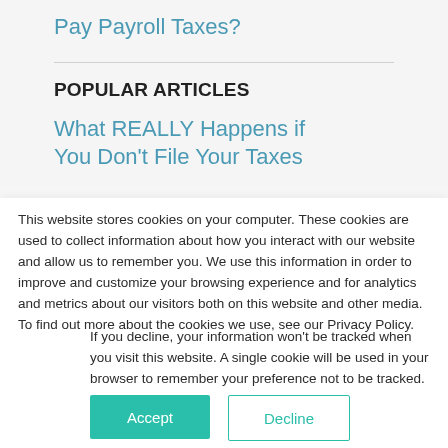Pay Payroll Taxes?
POPULAR ARTICLES
What REALLY Happens if You Don't File Your Taxes
This website stores cookies on your computer. These cookies are used to collect information about how you interact with our website and allow us to remember you. We use this information in order to improve and customize your browsing experience and for analytics and metrics about our visitors both on this website and other media. To find out more about the cookies we use, see our Privacy Policy.
If you decline, your information won't be tracked when you visit this website. A single cookie will be used in your browser to remember your preference not to be tracked.
Accept
Decline